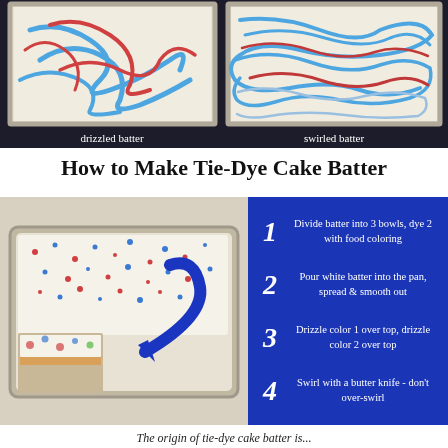[Figure (photo): Two side-by-side baking pan photos: left shows drizzled batter with blue and red swirls on white, labeled 'drizzled batter'; right shows swirled batter with marbled blue, red and cream pattern, labeled 'swirled batter']
How to Make Tie-Dye Cake Batter
[Figure (infographic): Left: photo of a frosted sheet cake with red and blue sprinkles and a slice removed showing colorful interior, with a blue arrow pointing to the slice. Right: blue panel with 4 numbered steps for making tie-dye cake batter.]
1 Divide batter into 3 bowls, dye 2 with food coloring
2 Pour white batter into the pan, spread & smooth out
3 Drizzle color 1 over top, drizzle color 2 over top
4 Swirl with a butter knife - don't over-swirl
The origin of tie-dye cake batter is...